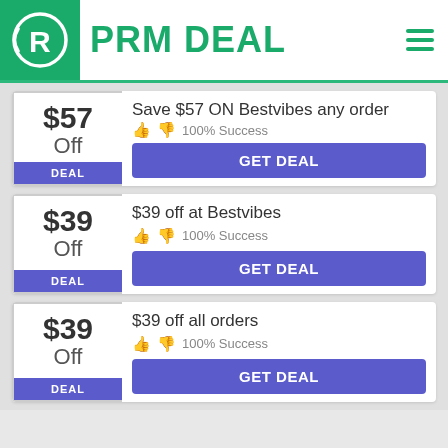PRM DEAL
$57 Off — Save $57 ON Bestvibes any order — 100% Success — GET DEAL
$39 Off — $39 off at Bestvibes — 100% Success — GET DEAL
$39 Off — $39 off all orders — 100% Success — GET DEAL